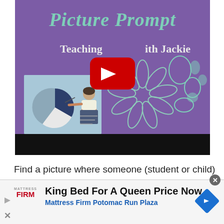[Figure (screenshot): YouTube video thumbnail for 'Picture Prompt - Teaching with Jackie'. Purple background with decorative flower outline, green blobs, and an illustrated teacher pointing at a pie chart. Red YouTube play button in center.]
Find a picture where someone (student or child) is doing a lot of bad things! For example, a child with a very messy bedroom. Or, a student who is on
[Figure (screenshot): Advertisement banner: Mattress Firm ad showing 'King Bed For A Queen Price Now' with 'Mattress Firm Potomac Run Plaza' subtitle, navigation icon on right.]